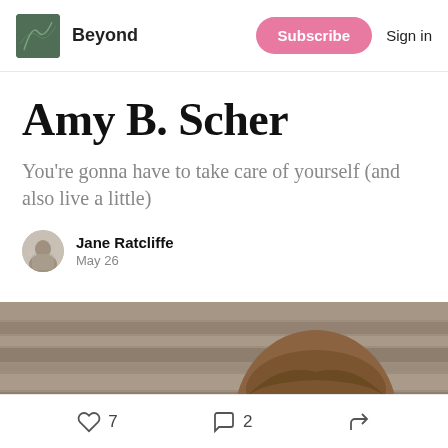Beyond  Subscribe  Sign in
Amy B. Scher
You’re gonna have to take care of yourself (and also live a little)
Jane Ratcliffe
May 26
[Figure (photo): Portrait photo of a woman with long brown hair against a wooden background]
7 likes  2 comments  Share